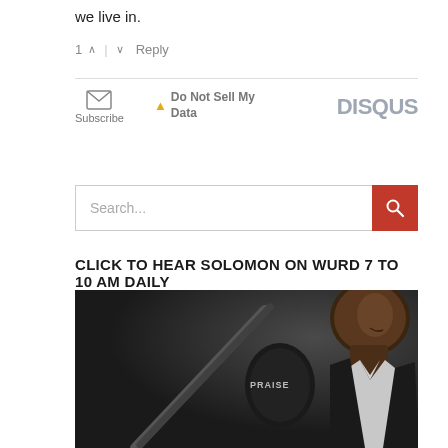we live in.
1 ^ | v  Reply
[Figure (screenshot): Disqus footer bar with Subscribe (envelope icon), Do Not Sell My Data (triangle icon), and DISQUS logo]
[Figure (screenshot): Search input box with red search button containing magnifying glass icon, placeholder text 'Search...']
CLICK TO HEAR SOLOMON ON WURD 7 TO 10 AM DAILY
[Figure (photo): Man in dark suit with white shirt in front of microphone labeled PRAISE in a dark studio setting]